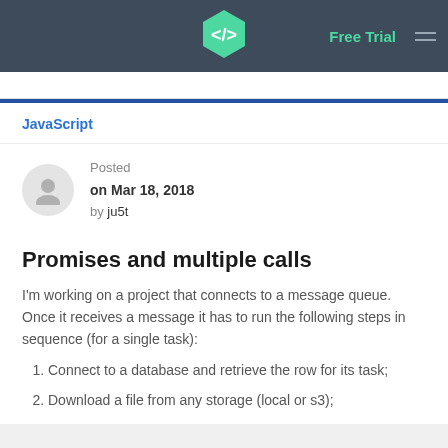Free Trial
JavaScript
Posted on Mar 18, 2018 by ju5t
Promises and multiple calls
I'm working on a project that connects to a message queue. Once it receives a message it has to run the following steps in sequence (for a single task):
Connect to a database and retrieve the row for its task;
Download a file from any storage (local or s3);